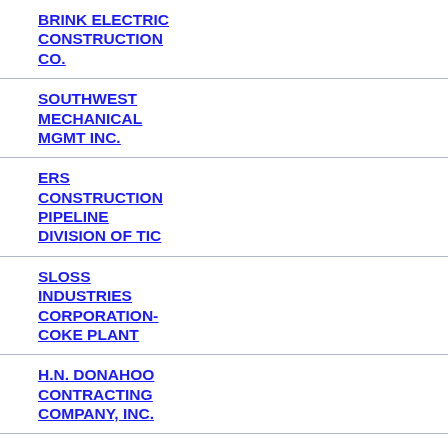BRINK ELECTRIC CONSTRUCTION CO.
SOUTHWEST MECHANICAL MGMT INC.
ERS CONSTRUCTION PIPELINE DIVISION OF TIC
SLOSS INDUSTRIES CORPORATION-COKE PLANT
H.N. DONAHOO CONTRACTING COMPANY, INC.
TRANSPORTATION SERVICES INC DBA O'NEIL